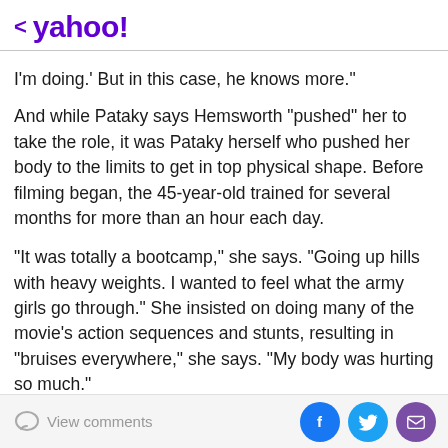< yahoo!
I'm doing.' But in this case, he knows more."
And while Pataky says Hemsworth "pushed" her to take the role, it was Pataky herself who pushed her body to the limits to get in top physical shape. Before filming began, the 45-year-old trained for several months for more than an hour each day.
"It was totally a bootcamp," she says. "Going up hills with heavy weights. I wanted to feel what the army girls go through." She insisted on doing many of the movie's action sequences and stunts, resulting in "bruises everywhere," she says. "My body was hurting so much."
Despite the physical pain, Pataky was satisfied to fulfill a
View comments